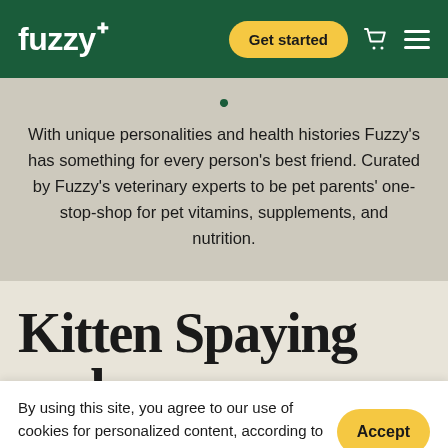fuzzy+ | Get started
With unique personalities and health histories Fuzzy's has something for every person's best friend. Curated by Fuzzy's veterinary experts to be pet parents' one-stop-shop for pet vitamins, supplements, and nutrition.
Kitten Spaying and
By using this site, you agree to our use of cookies for personalized content, according to our Privacy Policy
Accept